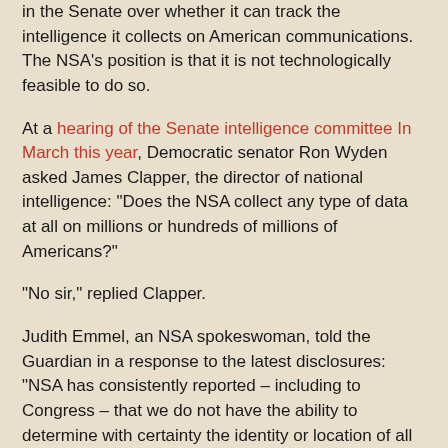in the Senate over whether it can track the intelligence it collects on American communications. The NSA's position is that it is not technologically feasible to do so.
At a hearing of the Senate intelligence committee In March this year, Democratic senator Ron Wyden asked James Clapper, the director of national intelligence: "Does the NSA collect any type of data at all on millions or hundreds of millions of Americans?"
"No sir," replied Clapper.
Judith Emmel, an NSA spokeswoman, told the Guardian in a response to the latest disclosures: "NSA has consistently reported – including to Congress – that we do not have the ability to determine with certainty the identity or location of all communicants within a given communication. That remains the case."
Other documents seen by the Guardian further demonstrate that the NSA does in fact break down its surveillance intercepts which could allow the agency to determine how